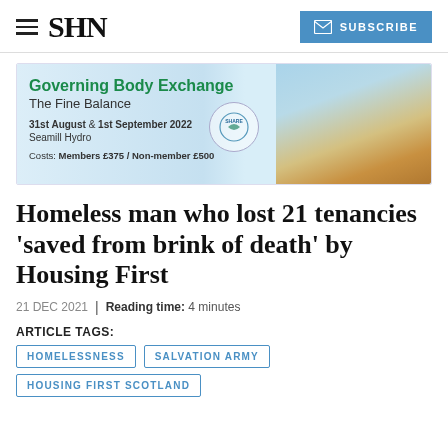SHN | SUBSCRIBE
[Figure (infographic): Advertisement banner for Governing Body Exchange: The Fine Balance, 31st August & 1st September 2022, Seamill Hydro. Costs: Members £375 / Non-member £500. Features a SHARE logo circle and stacked stones image on blue/golden sky background.]
Homeless man who lost 21 tenancies 'saved from brink of death' by Housing First
21 DEC 2021 | Reading time: 4 minutes
ARTICLE TAGS:
HOMELESSNESS
SALVATION ARMY
HOUSING FIRST SCOTLAND